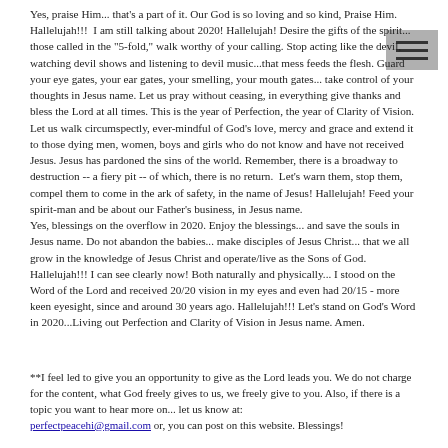Yes, praise Him... that's a part of it. Our God is so loving and so kind, Praise Him. Hallelujah!!!  I am still talking about 2020! Hallelujah! Desire the gifts of the spirit... those called in the "5-fold," walk worthy of your calling. Stop acting like the devil, watching devil shows and listening to devil music...that mess feeds the flesh. Guard your eye gates, your ear gates, your smelling, your mouth gates... take control of your thoughts in Jesus name. Let us pray without ceasing, in everything give thanks and bless the Lord at all times. This is the year of Perfection, the year of Clarity of Vision. Let us walk circumspectly, ever-mindful of God's love, mercy and grace and extend it to those dying men, women, boys and girls who do not know and have not received Jesus. Jesus has pardoned the sins of the world. Remember, there is a broadway to destruction -- a fiery pit -- of which, there is no return.  Let's warn them, stop them, compel them to come in the ark of safety, in the name of Jesus! Hallelujah! Feed your spirit-man and be about our Father's business, in Jesus name.
Yes, blessings on the overflow in 2020. Enjoy the blessings... and save the souls in Jesus name. Do not abandon the babies... make disciples of Jesus Christ... that we all grow in the knowledge of Jesus Christ and operate/live as the Sons of God. Hallelujah!!! I can see clearly now! Both naturally and physically... I stood on the Word of the Lord and received 20/20 vision in my eyes and even had 20/15 - more keen eyesight, since and around 30 years ago. Hallelujah!!! Let's stand on God's Word in 2020...Living out Perfection and Clarity of Vision in Jesus name. Amen.
**I feel led to give you an opportunity to give as the Lord leads you. We do not charge for the content, what God freely gives to us, we freely give to you. Also, if there is a topic you want to hear more on... let us know at: perfectpeacehi@gmail.com or, you can post on this website. Blessings!